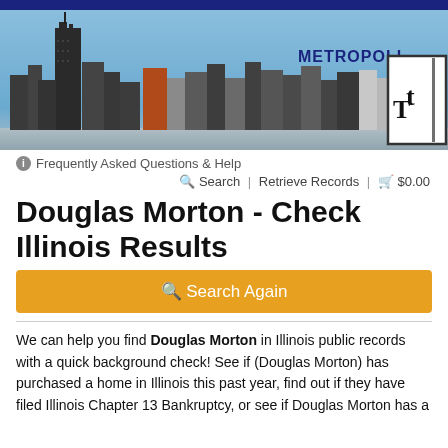[Figure (photo): Chicago city skyline photo with blue sky and tall buildings including Willis Tower, with 'METROPOLI' text and a logo box overlay on the right side]
ⓘ Frequently Asked Questions & Help   🔍 Search  |  Retrieve Records  |  🛒 $0.00
Douglas Morton - Check Illinois Results
Search Again (button)
We can help you find Douglas Morton in Illinois public records with a quick background check! See if (Douglas Morton) has purchased a home in Illinois this past year, find out if they have filed Illinois Chapter 13 Bankruptcy, or see if Douglas Morton has a